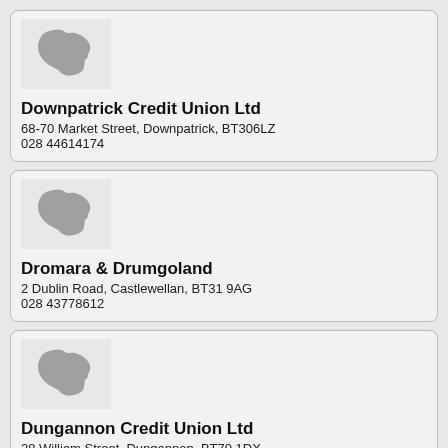[Figure (map): Silhouette map of Northern Ireland, grey on light background]
Downpatrick Credit Union Ltd
68-70 Market Street, Downpatrick, BT306LZ
028 44614174
[Figure (map): Silhouette map of Northern Ireland, grey on light background]
Dromara & Drumgoland
2 Dublin Road, Castlewellan, BT31 9AG
028 43778612
[Figure (map): Silhouette map of Northern Ireland, grey on light background]
Dungannon Credit Union Ltd
28 William Street, Dungannon, BT70 1DX
028 87723729